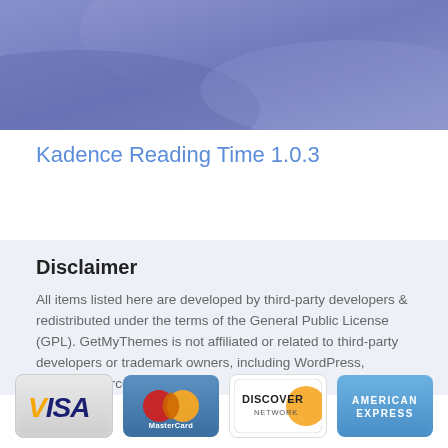[Figure (illustration): Purple/blue gradient banner image at the top of the page]
Kadence Reading Time 1.0.3
Disclaimer
All items listed here are developed by third-party developers & redistributed under the terms of the General Public License (GPL). GetMyThemes is not affiliated or related to third-party developers or trademark owners, including WordPress, WooCommerce, etc.
[Figure (illustration): Payment method logos: Visa, MasterCard, Discover Network, American Express]